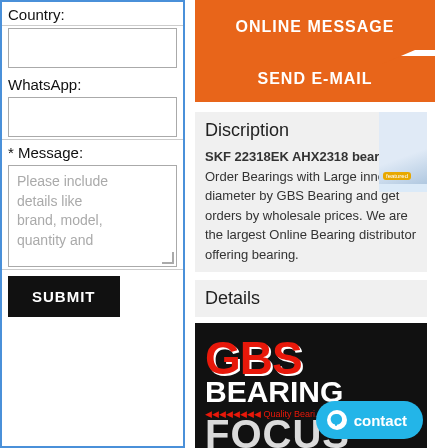Country:
WhatsApp:
* Message:
Please include details like brand, model, quantity and
SUBMIT
ONLINE MESSAGE
SEND E-MAIL
Discription
SKF 22318EK AHX2318 bearing Order Bearings with Large inner diameter by GBS Bearing and get orders by wholesale prices. We are the largest Online Bearing distributor offering bearing.
Details
[Figure (logo): GBS Bearing logo on black background with red GBS text and white BEARING text, with FOCUS text partially visible at bottom]
contact